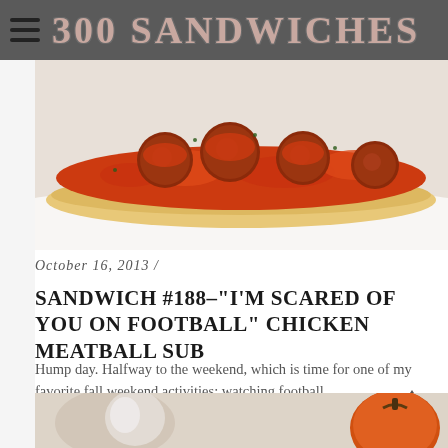300 SANDWICHES
[Figure (photo): Close-up photo of a chicken meatball sub sandwich with red tomato sauce on a hoagie roll, on a white plate]
October 16, 2013 /
SANDWICH #188–“I’M SCARED OF YOU ON FOOTBALL” CHICKEN MEATBALL SUB
Hump day. Halfway to the weekend, which is time for one of my favorite fall weekend activities: watching football.
[Figure (photo): Partial bottom photo showing what appears to be a pumpkin and other food items]
BACK TO TOP